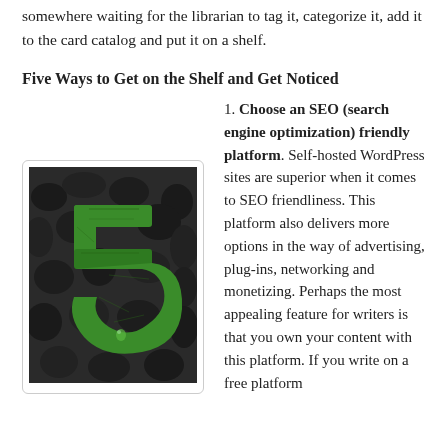somewhere waiting for the librarian to tag it, categorize it, add it to the card catalog and put it on a shelf.
Five Ways to Get on the Shelf and Get Noticed
[Figure (photo): A large green number 5 made of leaves against a dark rocky/coal background]
1. Choose an SEO (search engine optimization) friendly platform. Self-hosted WordPress sites are superior when it comes to SEO friendliness. This platform also delivers more options in the way of advertising, plug-ins, networking and monetizing. Perhaps the most appealing feature for writers is that you own your content with this platform. If you write on a free platform